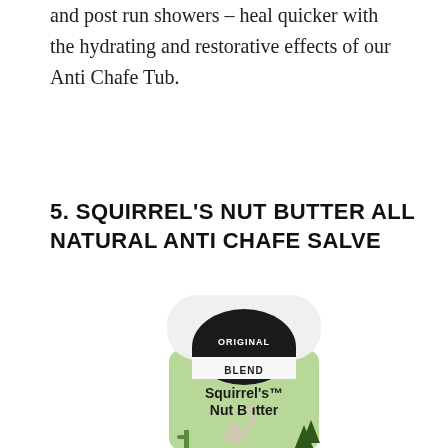and post run showers – heal quicker with the hydrating and restorative effects of our Anti Chafe Tub.
5. SQUIRREL'S NUT BUTTER ALL NATURAL ANTI CHAFE SALVE
[Figure (photo): A cylindrical container of Squirrel's Nut Butter Original Blend Anti Chafe Salve. The top is white and rounded. Below is a black arch with 'ORIGINAL' text and a white band with 'BLEND'. The body of the container is light green with 'Squirrel's Nut Butter' in bold black text and a cartoon squirrel illustration.]